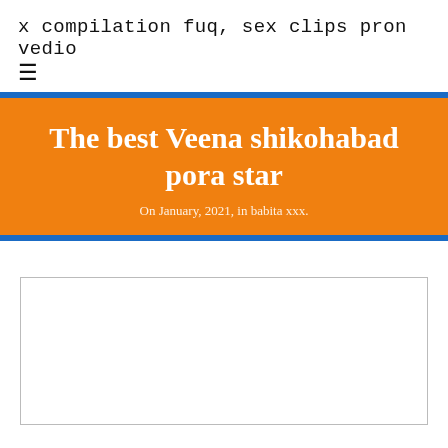x compilation fuq, sex clips pron vedio
The best Veena shikohabad pora star
On January, 2021, in babita xxx.
[Figure (other): Empty white rectangle with light gray border, representing an embedded media or image placeholder.]